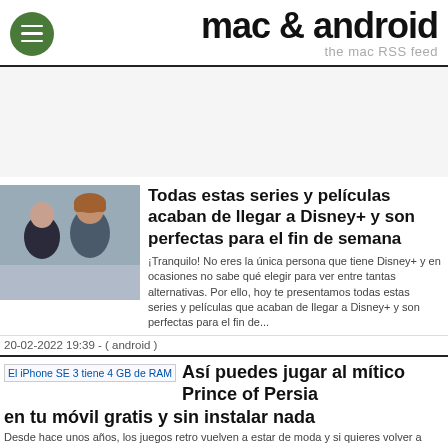mac & android — the mac RSS feed
Todas estas series y películas acaban de llegar a Disney+ y son perfectas para el fin de semana
¡Tranquilo! No eres la única persona que tiene Disney+ y en ocasiones no sabe qué elegir para ver entre tantas alternativas. Por ello, hoy te presentamos todas estas series y películas que acaban de llegar a Disney+ y son perfectas para el fin de...
20-02-2022 19:39 - ( android )
Así puedes jugar al mítico Prince of Persia en tu móvil gratis y sin instalar nada
Desde hace unos años, los juegos retro vuelven a estar de moda y si quieres volver a disfrutar de los títulos que marcaron tu infancia y tu adolescencia en tu móvil, tienes a tu disposición una gran cantidad de emuladores de las videoconsolas...
04-01-2022 19:38 - ( android )